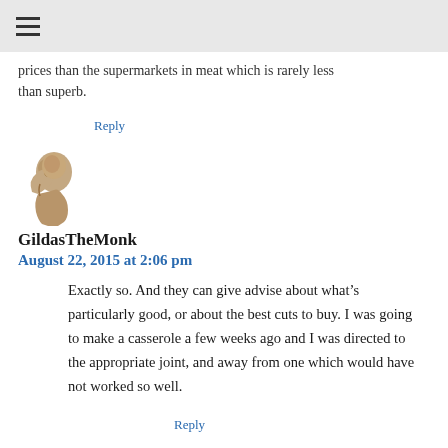prices than the supermarkets in meat which is rarely less than superb.
Reply
[Figure (photo): Avatar image of a monk or robed figure in a thinking/contemplative pose, rendered in a brownish stone sculpture style]
GildasTheMonk
August 22, 2015 at 2:06 pm
Exactly so. And they can give advise about what’s particularly good, or about the best cuts to buy. I was going to make a casserole a few weeks ago and I was directed to the appropriate joint, and away from one which would have not worked so well.
Reply
[Figure (logo): Green and white decorative tile/pinwheel pattern logo at the bottom of the page]